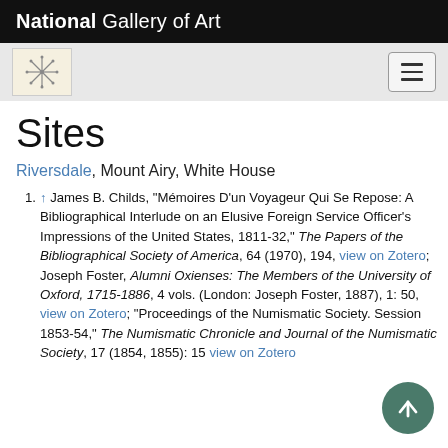National Gallery of Art
Sites
Riversdale, Mount Airy, White House
↑ James B. Childs, "Mémoires D'un Voyageur Qui Se Repose: A Bibliographical Interlude on an Elusive Foreign Service Officer's Impressions of the United States, 1811-32," The Papers of the Bibliographical Society of America, 64 (1970), 194, view on Zotero; Joseph Foster, Alumni Oxienses: The Members of the University of Oxford, 1715-1886, 4 vols. (London: Joseph Foster, 1887), 1: 50, view on Zotero; "Proceedings of the Numismatic Society. Session 1853-54," The Numismatic Chronicle and Journal of the Numismatic Society, 17 (1854, 1855); 15 view on Zotero